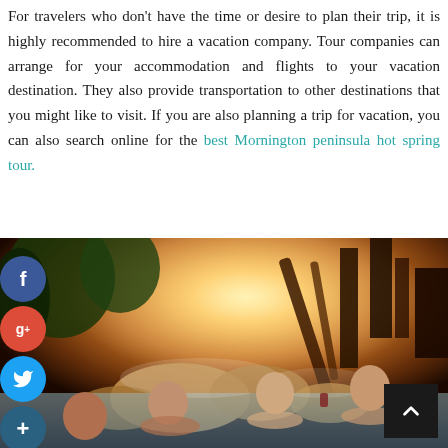For travelers who don't have the time or desire to plan their trip, it is highly recommended to hire a vacation company. Tour companies can arrange for your accommodation and flights to your vacation destination. They also provide transportation to other destinations that you might like to visit. If you are also planning a trip for vacation, you can also search online for the best Mornington peninsula hot spring tour.
[Figure (photo): People relaxing in a hot spring pool at sunset, with warm golden light, rocks, and wooden structures in the background. Social media share buttons (Facebook, Google+, Twitter, add) are overlaid on the left side of the image.]